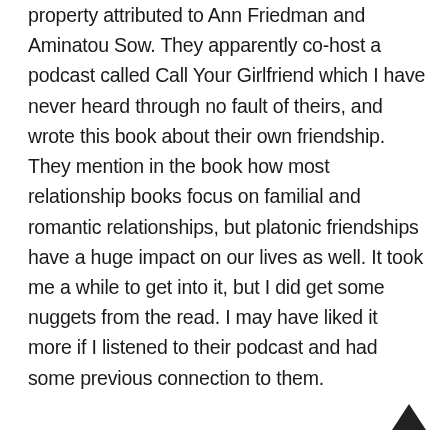property attributed to Ann Friedman and Aminatou Sow. They apparently co-host a podcast called Call Your Girlfriend which I have never heard through no fault of theirs, and wrote this book about their own friendship. They mention in the book how most relationship books focus on familial and romantic relationships, but platonic friendships have a huge impact on our lives as well. It took me a while to get into it, but I did get some nuggets from the read. I may have liked it more if I listened to their podcast and had some previous connection to them.